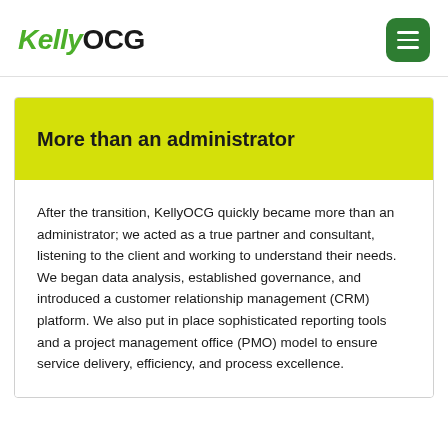KellyOCG
More than an administrator
After the transition, KellyOCG quickly became more than an administrator; we acted as a true partner and consultant, listening to the client and working to understand their needs. We began data analysis, established governance, and introduced a customer relationship management (CRM) platform. We also put in place sophisticated reporting tools and a project management office (PMO) model to ensure service delivery, efficiency, and process excellence.